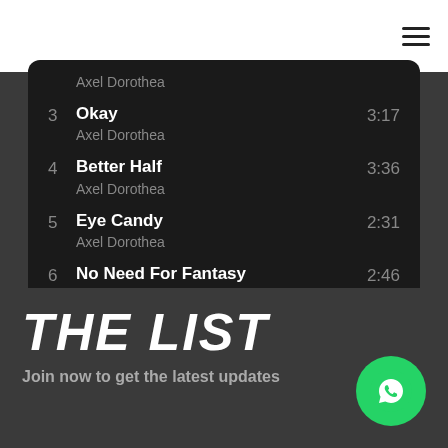Axel Dorothea
3  Okay  3:17
Axel Dorothea
4  Better Half  3:36
Axel Dorothea
5  Eye Candy  2:31
Axel Dorothea
6  No Need For Fantasy  2:46
Axel Dorothea
THE LIST
Join now to get the latest updates